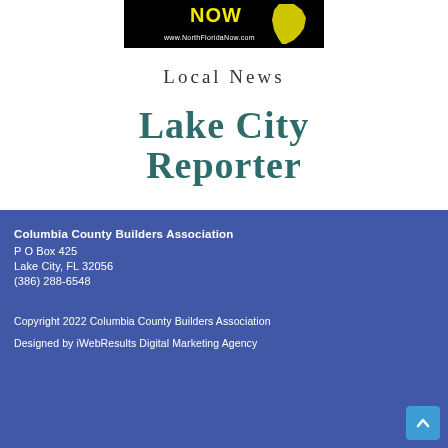[Figure (logo): NorthFloridaNow.com logo - black background with yellow NOW text and website URL, Florida state shape in yellow on right]
Local News
[Figure (logo): Lake City Reporter logo in teal/dark green serif bold font]
Columbia County Builders Association
P O Box 425
Lake City, FL 32056
(386) 288-6548
Copyright 2022 Columbia County Builders Association
Designed by iWebResults Digital Marketing Agency